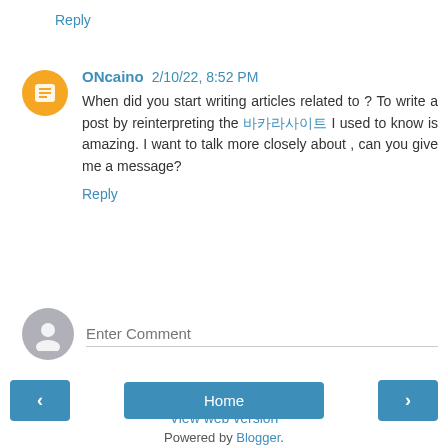Reply
ONcaino 2/10/22, 8:52 PM
When did you start writing articles related to ? To write a post by reinterpreting the 바카라사이트 I used to know is amazing. I want to talk more closely about , can you give me a message?
Reply
Enter Comment
Home
View web version
Powered by Blogger.